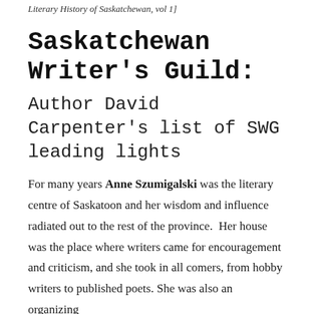Literary History of Saskatchewan, vol 1]
Saskatchewan Writer's Guild:
Author David Carpenter's list of SWG leading lights
For many years Anne Szumigalski was the literary centre of Saskatoon and her wisdom and influence radiated out to the rest of the province.  Her house was the place where writers came for encouragement and criticism, and she took in all comers, from hobby writers to published poets. She was also an organizing